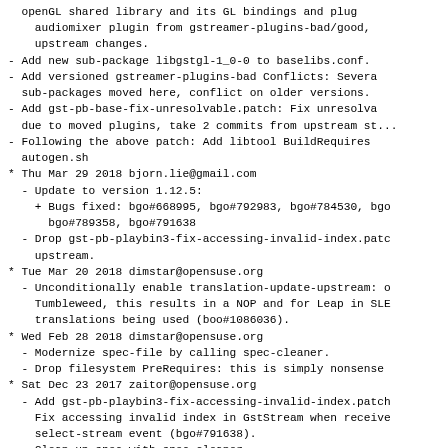openGL shared library and its GL bindings and plu...
    audiomixer plugin from gstreamer-plugins-bad/good,
    upstream changes.
- Add new sub-package libgstgl-1_0-0 to baselibs.conf.
- Add versioned gstreamer-plugins-bad Conflicts: Severa...
  sub-packages moved here, conflict on older versions.
- Add gst-pb-base-fix-unresolvable.patch: Fix unresolva...
  due to moved plugins, take 2 commits from upstream st...
- Following the above patch: Add libtool BuildRequires
  autogen.sh
* Thu Mar 29 2018 bjorn.lie@gmail.com
- Update to version 1.12.5:
+ Bugs fixed: bgo#668995, bgo#792983, bgo#784530, bg...
      bgo#789358, bgo#791638
- Drop gst-pb-playbin3-fix-accessing-invalid-index.patc...
    upstream.
* Tue Mar 20 2018 dimstar@opensuse.org
- Unconditionally enable translation-update-upstream: o...
    Tumbleweed, this results in a NOP and for Leap in SLE...
    translations being used (boo#1086036).
* Wed Feb 28 2018 dimstar@opensuse.org
- Modernize spec-file by calling spec-cleaner.
- Drop filesystem PreRequires: this is simply nonsense...
* Sat Dec 23 2017 zaitor@opensuse.org
- Add gst-pb-playbin3-fix-accessing-invalid-index.patch
    Fix accessing invalid index in GstStream when receive...
    select-stream event (bgo#791638).
- Clean up spec with spec-cleaner.
* Mon Dec 11 2017 zaitor@opensuse.org
- Update to version 1.12.4:
+ Bugs fixed: bgo#789459, bgo#789547, bgo790329...